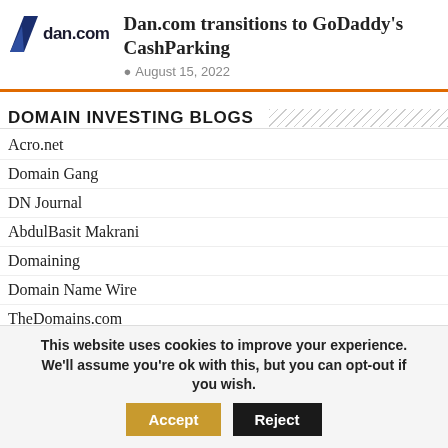[Figure (logo): dan.com logo with blue angular icon and 'dan.com' text]
Dan.com transitions to GoDaddy's CashParking
August 15, 2022
DOMAIN INVESTING BLOGS
Acro.net
Domain Gang
DN Journal
AbdulBasit Makrani
Domaining
Domain Name Wire
TheDomains.com
dot Weekly
This website uses cookies to improve your experience. We'll assume you're ok with this, but you can opt-out if you wish.